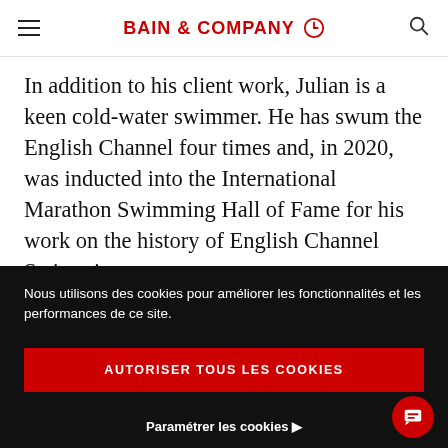BAIN & COMPANY
In addition to his client work, Julian is a keen cold-water swimmer. He has swum the English Channel four times and, in 2020, was inducted into the International Marathon Swimming Hall of Fame for his work on the history of English Channel Swimming.
Nous utilisons des cookies pour améliorer les fonctionnalités et les performances de ce site.
AUTORISER TOUS LES COOKIES
Paramétrer les cookies ▶